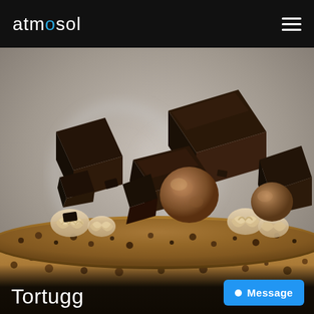atmosol
[Figure (photo): Close-up photo of a chocolate cake top decorated with large dark chocolate block pieces, cocoa-dusted chocolate truffle balls, whipped cream rosettes, and a crumbly chocolate-coated side. The background shows a blurred white mug.]
Tortugg
Message